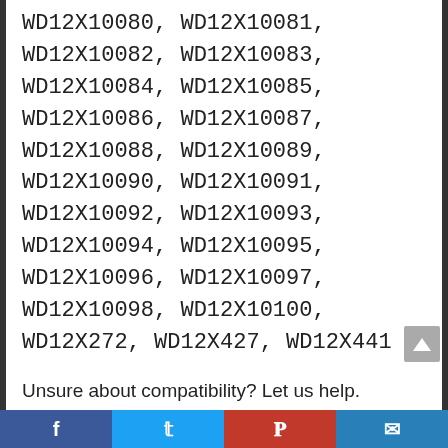WD12X10080, WD12X10081, WD12X10082, WD12X10083, WD12X10084, WD12X10085, WD12X10086, WD12X10087, WD12X10088, WD12X10089, WD12X10090, WD12X10091, WD12X10092, WD12X10093, WD12X10094, WD12X10095, WD12X10096, WD12X10097, WD12X10098, WD12X10100, WD12X272, WD12X427, WD12X441
Unsure about compatibility? Let us help. Comment below in the customer questions and answer section or send us a message on the PartsBroz storefront.
Conclusion